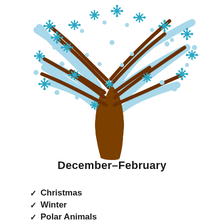[Figure (illustration): A stylized winter tree illustration with a brown trunk, light blue curving bare branches, teal/blue snowflake decorations, and scattered light blue dots and small circles throughout the canopy.]
December–February
Christmas
Winter
Polar Animals